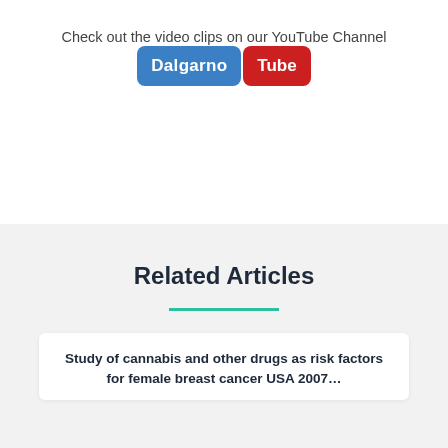Check out the video clips on our YouTube Channel
[Figure (logo): DalgarnoTube logo — 'Dalgarno' on a blue rounded rectangle and 'Tube' on a red rounded rectangle, styled like YouTube branding]
Related Articles
Study of cannabis and other drugs as risk factors for female breast cancer USA 2007…